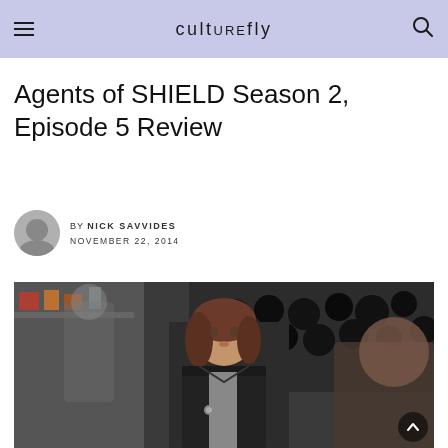culturefly
Agents of SHIELD Season 2, Episode 5 Review
BY NICK SAVVIDES
NOVEMBER 22, 2014
[Figure (photo): Scene from Agents of SHIELD showing a woman with brown hair in a dark jacket standing in a lab setting, with another person in the foreground blurred.]